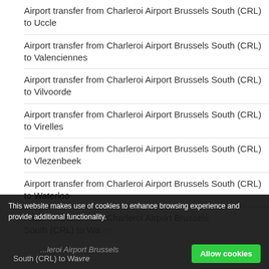Airport transfer from Charleroi Airport Brussels South (CRL) to Uccle
Airport transfer from Charleroi Airport Brussels South (CRL) to Valenciennes
Airport transfer from Charleroi Airport Brussels South (CRL) to Vilvoorde
Airport transfer from Charleroi Airport Brussels South (CRL) to Virelles
Airport transfer from Charleroi Airport Brussels South (CRL) to Vlezenbeek
Airport transfer from Charleroi Airport Brussels South (CRL) to Waterloo
Airport transfer from Charleroi Airport Brussels South (CRL) to Wavre
This website makes use of cookies to enhance browsing experience and provide additional functionality.
Allow cookies